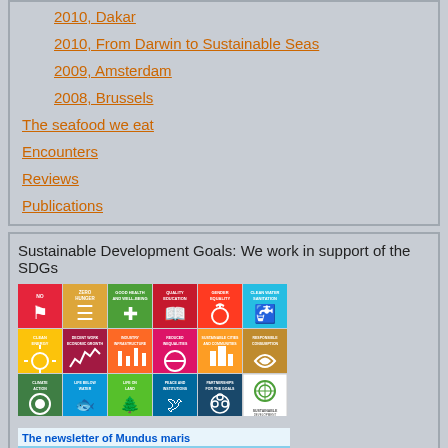2010, Dakar
2010, From Darwin to Sustainable Seas
2009, Amsterdam
2008, Brussels
The seafood we eat
Encounters
Reviews
Publications
Sustainable Development Goals: We work in support of the SDGs
[Figure (illustration): SDG goals grid showing 17 sustainable development goal icons in colored squares]
[Figure (illustration): Newsletter of Mundus maris banner with coastal scene photograph]